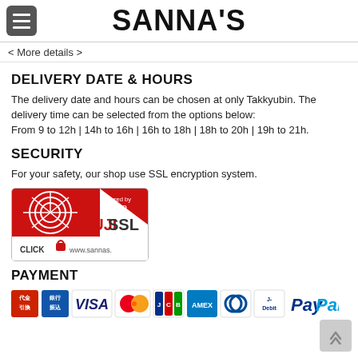SANNA'S
< More details >
DELIVERY DATE & HOURS
The delivery date and hours can be chosen at only Takkyubin. The delivery time can be selected from the options below:
From 9 to 12h | 14h to 16h | 16h to 18h | 18h to 20h | 19h to 21h.
SECURITY
For your safety, our shop use SSL encryption system.
[Figure (logo): FUJI SSL security badge - Secured by NIJIMO, with CLICK and www.sannas. text]
PAYMENT
[Figure (logo): Payment icons: 代金引換, 銀行振込, VISA, Mastercard, JCB, American Express, Diners Club, J-Debit, PayPal]